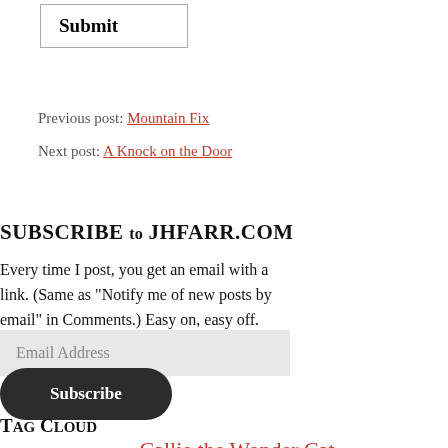Submit
Previous post: Mountain Fix
Next post: A Knock on the Door
SUBSCRIBE TO JHFARR.COM
Every time I post, you get an email with a link. (Same as "Notify me of new posts by email" in Comments.) Easy on, easy off.
Email Address
Subscribe
Tag Cloud
adobe  animals  bighorns  Callie the Wonder Cat